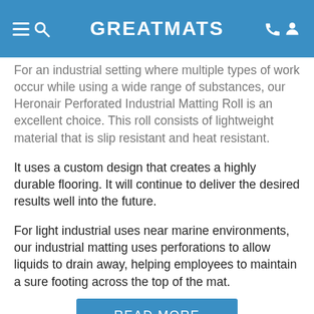GREATMATS
For an industrial setting where multiple types of work occur while using a wide range of substances, our Heronair Perforated Industrial Matting Roll is an excellent choice. This roll consists of lightweight material that is slip resistant and heat resistant.
It uses a custom design that creates a highly durable flooring. It will continue to deliver the desired results well into the future.
For light industrial uses near marine environments, our industrial matting uses perforations to allow liquids to drain away, helping employees to maintain a sure footing across the top of the mat.
READ MORE
SPECIFICATIONS